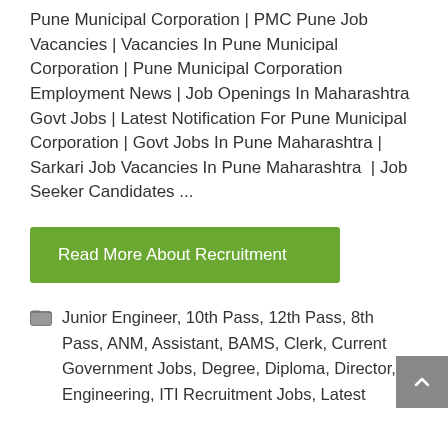Pune Municipal Corporation | PMC Pune Job Vacancies | Vacancies In Pune Municipal Corporation | Pune Municipal Corporation Employment News | Job Openings In Maharashtra Govt Jobs | Latest Notification For Pune Municipal Corporation | Govt Jobs In Pune Maharashtra | Sarkari Job Vacancies In Pune Maharashtra  | Job Seeker Candidates ...
Read More About Recruitment
Junior Engineer, 10th Pass, 12th Pass, 8th Pass, ANM, Assistant, BAMS, Clerk, Current Government Jobs, Degree, Diploma, Director, Engineering, ITI Recruitment Jobs, Latest